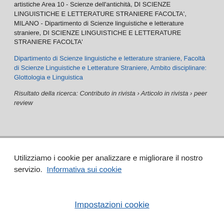artistiche Area 10 - Scienze dell'antichità, DI SCIENZE LINGUISTICHE E LETTERATURE STRANIERE FACOLTA', MILANO - Dipartimento di Scienze linguistiche e letterature straniere, DI SCIENZE LINGUISTICHE E LETTERATURE STRANIERE FACOLTA'
Dipartimento di Scienze linguistiche e letterature straniere, Facoltà di Scienze Linguistiche e Letterature Straniere, Ambito disciplinare: Glottologia e Linguistica
Risultato della ricerca: Contributo in rivista › Articolo in rivista › peer review
Utilizziamo i cookie per analizzare e migliorare il nostro servizio. Informativa sui cookie
Impostazioni cookie